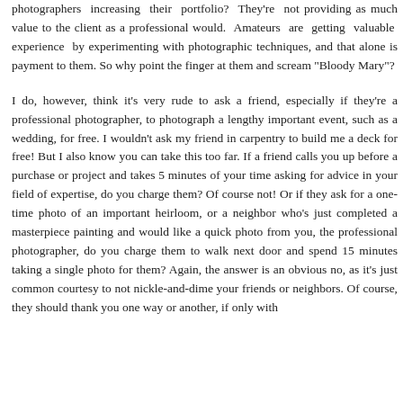photographers increasing their portfolio? They're not providing as much value to the client as a professional would. Amateurs are getting valuable experience by experimenting with photographic techniques, and that alone is payment to them. So why point the finger at them and scream "Bloody Mary"?
I do, however, think it's very rude to ask a friend, especially if they're a professional photographer, to photograph a lengthy important event, such as a wedding, for free. I wouldn't ask my friend in carpentry to build me a deck for free! But I also know you can take this too far. If a friend calls you up before a purchase or project and takes 5 minutes of your time asking for advice in your field of expertise, do you charge them? Of course not! Or if they ask for a one-time photo of an important heirloom, or a neighbor who's just completed a masterpiece painting and would like a quick photo from you, the professional photographer, do you charge them to walk next door and spend 15 minutes taking a single photo for them? Again, the answer is an obvious no, as it's just common courtesy to not nickle-and-dime your friends or neighbors. Of course, they should thank you one way or another, if only with